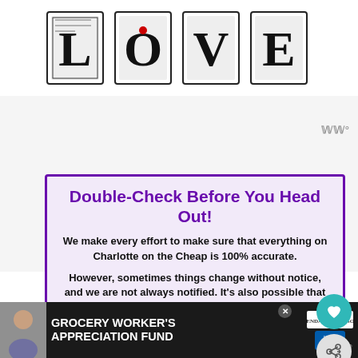[Figure (illustration): LOVE graphic with decorative black-and-white letters with intricate patterns, a red dot on the O]
Double-Check Before You Head Out!
We make every effort to make sure that everything on Charlotte on the Cheap is 100% accurate.
However, sometimes things change without notice, and we are not always notified. It's also possible that we can make a mi...
Please verify all deals and events with the venue or organizer before you go.
[Figure (photo): What's Next popup with food/drink image and text 'Spring and Summer...']
[Figure (infographic): Bottom advertisement banner: GROCERY WORKER'S APPRECIATION FUND with Kendall-Jackson and United Way logos]